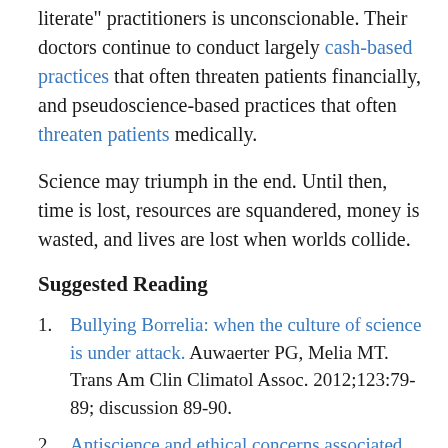literate" practitioners is unconscionable. Their doctors continue to conduct largely cash-based practices that often threaten patients financially, and pseudoscience-based practices that often threaten patients medically.
Science may triumph in the end. Until then, time is lost, resources are squandered, money is wasted, and lives are lost when worlds collide.
Suggested Reading
1. Bullying Borrelia: when the culture of science is under attack. Auwaerter PG, Melia MT. Trans Am Clin Climatol Assoc. 2012;123:79-89; discussion 89-90.
2. Antiscience and ethical concerns associated with...